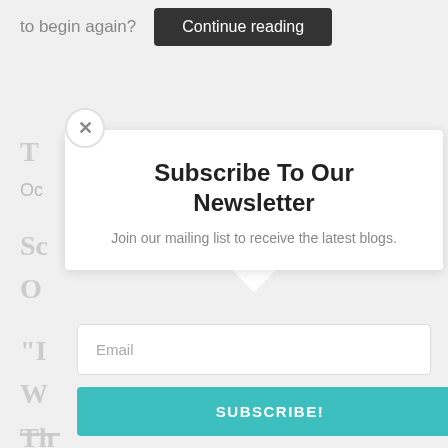to begin again?
Continue reading
[Figure (screenshot): Newsletter subscription modal popup with close button (×), title 'Subscribe To Our Newsletter', subtitle 'Join our mailing list to receive the latest blogs.', email input field, and teal SUBSCRIBE! button. Background shows partially visible blog page content.]
Subscribe To Our Newsletter
Join our mailing list to receive the latest blogs.
Email
SUBSCRIBE!